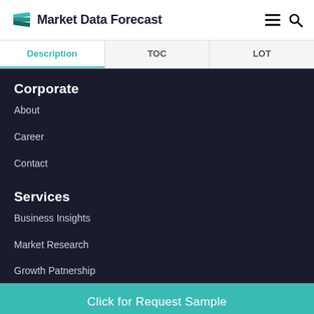Market Data Forecast
| Description | TOC | LOT |
| --- | --- | --- |
Corporate
About
Career
Contact
Services
Business Insights
Market Research
Growth Patnership
Click for Request Sample